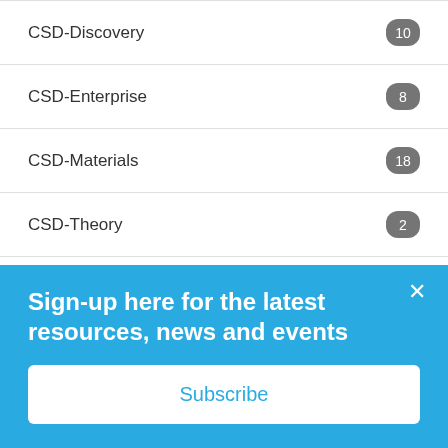CSD-Discovery 10
CSD-Enterprise 8
CSD-Materials 18
CSD-Theory 2
CSP Blind Test 13
data 10
Data mining 12
Data Revolution 2
Sign-up here for the latest resources, news and events
Subscribe